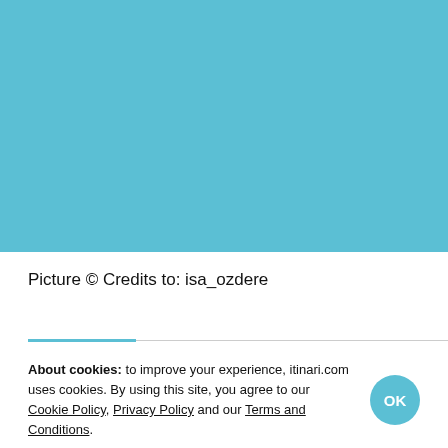[Figure (photo): A solid teal/sky-blue rectangular image placeholder area occupying the top portion of the page]
Picture © Credits to: isa_ozdere
About cookies: to improve your experience, itinari.com uses cookies. By using this site, you agree to our Cookie Policy, Privacy Policy and our Terms and Conditions.